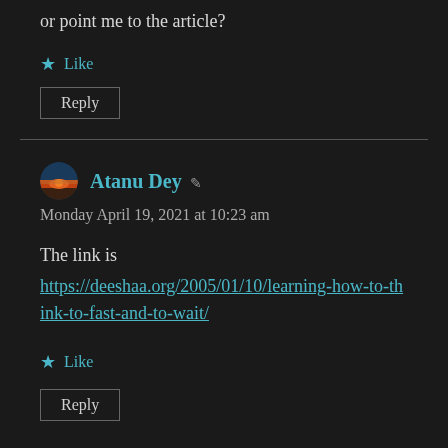or point me to the article?
★ Like
Reply
Atanu Dey ▲
Monday April 19, 2021 at 10:23 am
The link is https://deeshaa.org/2005/01/10/learning-how-to-think-to-fast-and-to-wait/
★ Like
Reply